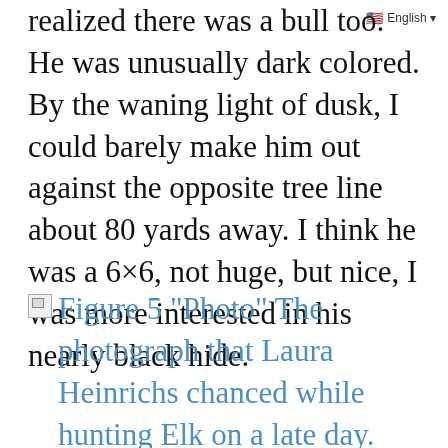realized there was a bull too. He was unusually dark colored. By the waning light of dusk, I could barely make him out against the opposite tree line about 80 yards away. I think he was a 6×6, not huge, but nice, I was more interested in his nearly black hide.
Figure 5 "Photo" The photograph that Laura Heinrichs chanced while hunting Elk on a late day. Luckily the flash did not spook the group.